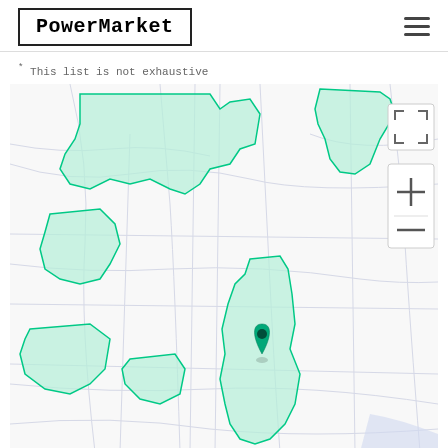PowerMarket
* This list is not exhaustive
[Figure (map): Interactive map showing green-shaded service area regions with boundary outlines. Multiple green-highlighted zones are visible across a road network map. A teal location pin marker is placed near the center-right of the map. Map controls include a fullscreen button and zoom in/out controls on the right side.]